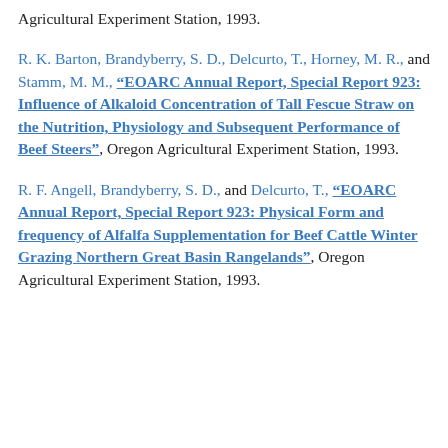Agricultural Experiment Station, 1993.
R. K. Barton, Brandyberry, S. D., Delcurto, T., Horney, M. R., and Stamm, M. M., "EOARC Annual Report, Special Report 923: Influence of Alkaloid Concentration of Tall Fescue Straw on the Nutrition, Physiology and Subsequent Performance of Beef Steers", Oregon Agricultural Experiment Station, 1993.
R. F. Angell, Brandyberry, S. D., and Delcurto, T., "EOARC Annual Report, Special Report 923: Physical Form and frequency of Alfalfa Supplementation for Beef Cattle Winter Grazing Northern Great Basin Rangelands", Oregon Agricultural Experiment Station, 1993.